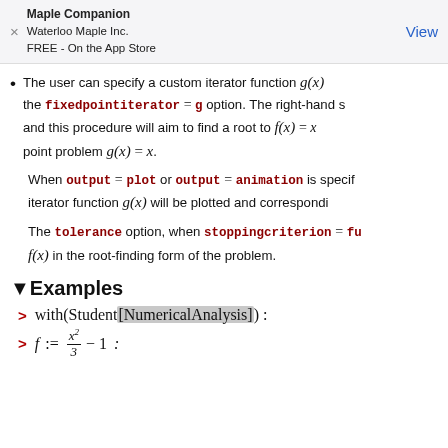Maple Companion | Waterloo Maple Inc. | FREE - On the App Store | View
The user can specify a custom iterator function g(x) the fixedpointiterator = g option. The right-hand s and this procedure will aim to find a root to f(x) = x point problem g(x) = x.
When output = plot or output = animation is specif iterator function g(x) will be plotted and correspondi
The tolerance option, when stoppingcriterion = fu f(x) in the root-finding form of the problem.
▼Examples